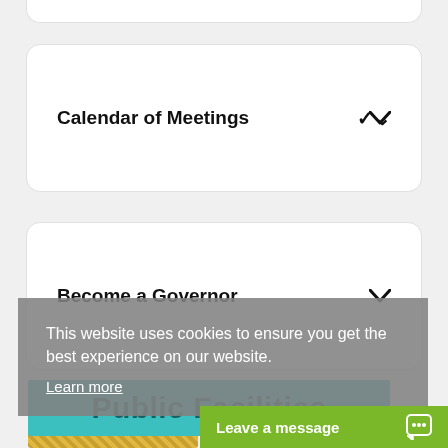Calendar of Meetings
Become a Governor
This website uses cookies to ensure you get the best experience on our website.
Learn more
Public Facilities
Leave a message